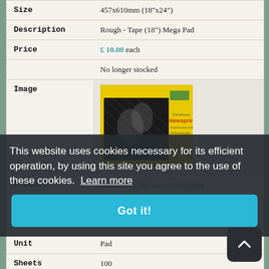| Size | 457x610mm (18"x24") |
| Description | Rough - Tape (18") Mega Pad |
| Price | £ 10.00 each |
|  | No longer stocked |
| Image | [Strathmore Newsprint pad image] |
| Product | Strathmore 300 Series Newsprint |
| Type |  |
| Code | S205-919 |
| Unit | Pad |
| Sheets | 100 |
| Size | 457x610mm (18"x24") |
This website uses cookies necessary for its efficient operation, by using this site you agree to the use of these cookies. Learn more
Got it!